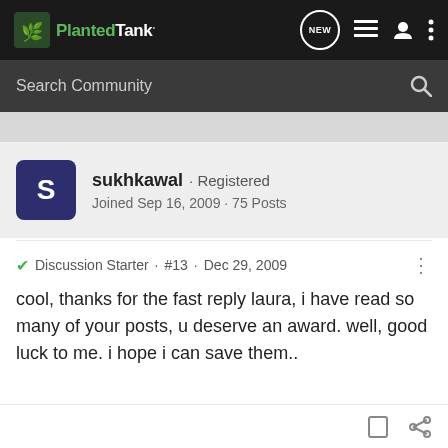PlantedTank
Search Community
sukhkawal · Registered
Joined Sep 16, 2009 · 75 Posts
Discussion Starter · #13 · Dec 29, 2009
cool, thanks for the fast reply laura, i have read so many of your posts, u deserve an award. well, good luck to me. i hope i can save them..